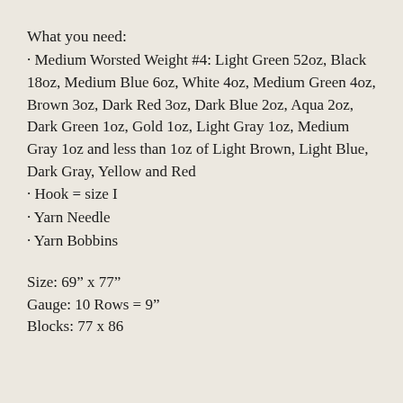What you need:
· Medium Worsted Weight #4: Light Green 52oz, Black 18oz, Medium Blue 6oz, White 4oz, Medium Green 4oz, Brown 3oz, Dark Red 3oz, Dark Blue 2oz, Aqua 2oz, Dark Green 1oz, Gold 1oz, Light Gray 1oz, Medium Gray 1oz and less than 1oz of Light Brown, Light Blue, Dark Gray, Yellow and Red
· Hook = size I
· Yarn Needle
· Yarn Bobbins
Size: 69” x 77”
Gauge: 10 Rows = 9”
Blocks: 77 x 86